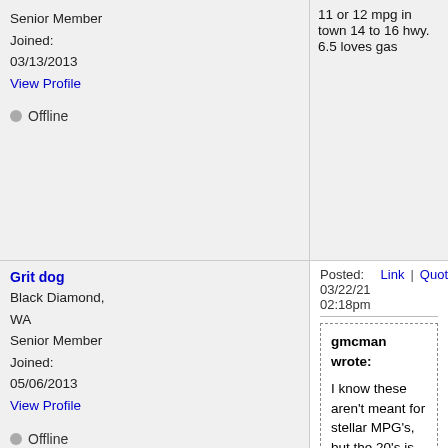Senior Member
Joined: 03/13/2013
View Profile
Offline
11 or 12 mpg in town 14 to 16 hwy. 6.5 loves gas
Grit dog
Black Diamond, WA
Senior Member
Joined: 05/06/2013
View Profile
Offline
Posted: 03/22/21 02:18pm
Link | Quote | Print |
gmcman wrote:
I know these aren't meant for stellar MPG's, but the 20's is also welcome.
LOL. Mid teens, bobtail, highway cruising IS stellar for these trucks. Anything over that, you're dreaming and less than 15mpg will be for combined, city/highway.

2002 Tahoe 5.3, about 14-15 mpg strictly highway, 13 combined.
2016 Silverado CC 4wd 5.3 (basically a 1/2 ton burb w/ highway bobtail, if I drove slow, 70mph or so.